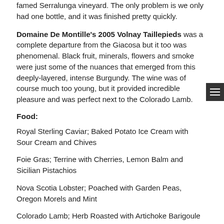famed Serralunga vineyard. The only problem is we only had one bottle, and it was finished pretty quickly.
Domaine De Montille’s 2005 Volnay Taillepieds was a complete departure from the Giacosa but it too was phenomenal. Black fruit, minerals, flowers and smoke were just some of the nuances that emerged from this deeply-layered, intense Burgundy. The wine was of course much too young, but it provided incredible pleasure and was perfect next to the Colorado Lamb.
Food:
Royal Sterling Caviar; Baked Potato Ice Cream with Sour Cream and Chives
Foie Gras; Terrine with Cherries, Lemon Balm and Sicilian Pistachios
Nova Scotia Lobster; Poached with Garden Peas, Oregon Morels and Mint
Colorado Lamb; Herb Roasted with Artichoke Barigoule and Petite Silvetta Arugula
Wine: